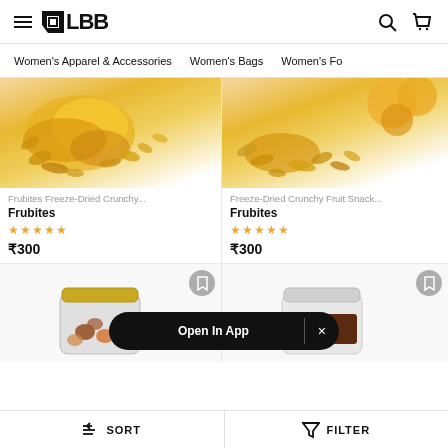LBB - Women's Apparel & Accessories, Women's Bags, Women's Fo...
Frubites Freeze-Dried Crunchy... | Frubites | ★★★★½ | ₹300
Freeze-Dried Crunchy Fruit Snack... | Frubites | ★★★★½ | ₹300
[Figure (photo): Product images of freeze-dried crunchy fruit snacks by Frubites]
[Figure (photo): Second row product images of jar-based snacks with Open In App banner overlay]
Open In App  ×
SORT    FILTER